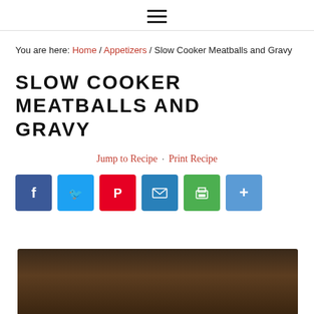☰ (hamburger menu icon)
You are here: Home / Appetizers / Slow Cooker Meatballs and Gravy
SLOW COOKER MEATBALLS AND GRAVY
Jump to Recipe · Print Recipe
[Figure (other): Social share buttons: Facebook (blue), Twitter (light blue), Pinterest (red), Email (blue), Print (green), Share (blue)]
[Figure (photo): Dark background food photo, partially visible at the bottom of the page]